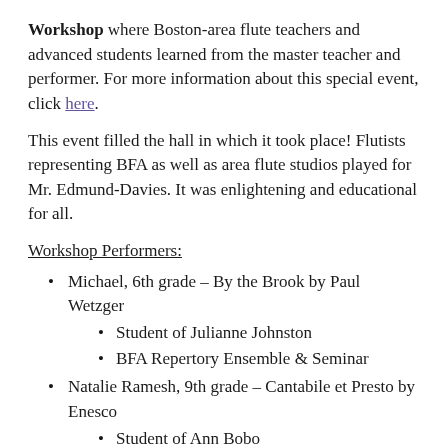Workshop where Boston-area flute teachers and advanced students learned from the master teacher and performer. For more information about this special event, click here.
This event filled the hall in which it took place! Flutists representing BFA as well as area flute studios played for Mr. Edmund-Davies. It was enlightening and educational for all.
Workshop Performers:
Michael, 6th grade – By the Brook by Paul Wetzger
Student of Julianne Johnston
BFA Repertory Ensemble & Seminar
Natalie Ramesh, 9th grade – Cantabile et Presto by Enesco
Student of Ann Bobo
BFA Advanced Repertory Ensemble & Seminar
Jessica Cheng, 12th grade – Fantaisie by Fauré
Student of David Houston, BFA Faculty
BFA Repertory Ensemble & Seminar
(cut off) Anna May and Matias – by Tchaikovsky…